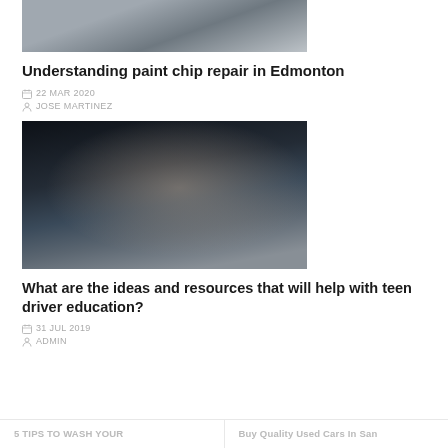[Figure (photo): Top portion of a car paint repair photo, showing hands working on a car surface]
Understanding paint chip repair in Edmonton
22 MAR 2020
JOSE MARTINEZ
[Figure (photo): Two teenage girls sitting in a car, one holding a phone, smiling]
What are the ideas and resources that will help with teen driver education?
31 JUL 2019
ADMIN
5 TIPS TO WASH YOUR    Buy Quality Used Cars In San